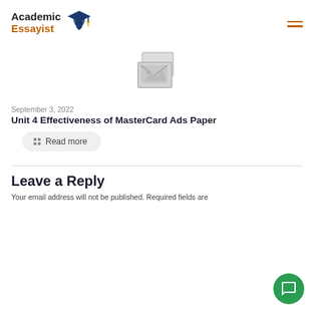Academic Essayist
[Figure (logo): Academic Essayist logo with graduation cap and student silhouette]
[Figure (illustration): Gray placeholder image icon showing stacked photos/images]
September 3, 2022
Unit 4 Effectiveness of MasterCard Ads Paper
Read more
Leave a Reply
Your email address will not be published. Required fields are